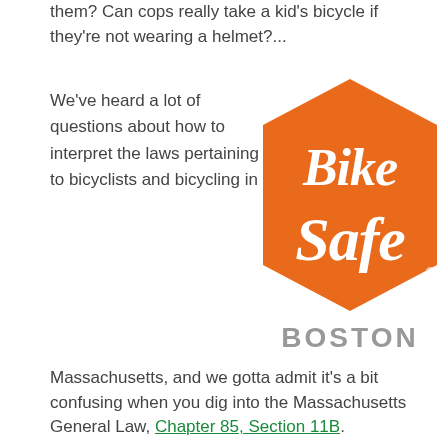them? Can cops really take a kid's bicycle if they're not wearing a helmet?...
We've heard a lot of questions about how to interpret the laws pertaining to bicyclists and bicycling in
[Figure (logo): BikeSafe Boston logo — orange hexagon with white cursive text 'Bike Safe' and gray bold text 'BOSTON' below]
Massachusetts, and we gotta admit it's a bit confusing when you dig into the Massachusetts General Law, Chapter 85, Section 11B.